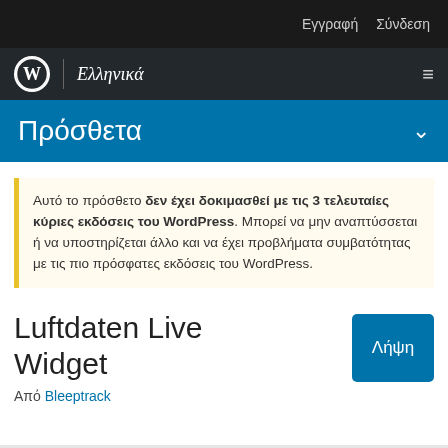Εγγραφή Σύνδεση
Ελληνικά
Πρόσθετα
Αυτό το πρόσθετο δεν έχει δοκιμασθεί με τις 3 τελευταίες κύριες εκδόσεις του WordPress. Μπορεί να μην αναπτύσσεται ή να υποστηρίζεται άλλο και να έχει προβλήματα συμβατότητας με τις πιο πρόσφατες εκδόσεις του WordPress.
Luftdaten Live Widget
Από Bleeptrack